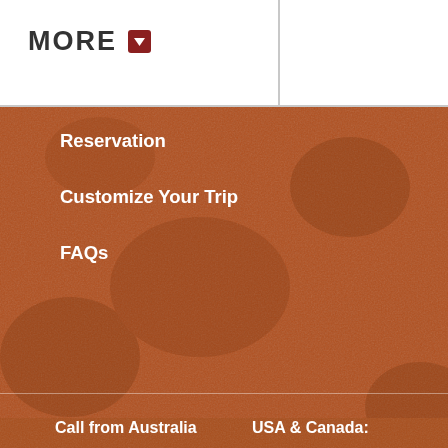MORE
Reservation
Customize Your Trip
FAQs
Our Offices:
Minneapolis (USA)  •  Nijmegen (Netherlands)
Phuentsholing (Bhutan-India border)
Thimphu (Bhutan)  •  Kathmandu (Nepal)
Delhi (India)  •  Gangtok (Sikkim, India)
Call from Australia
USA & Canada: